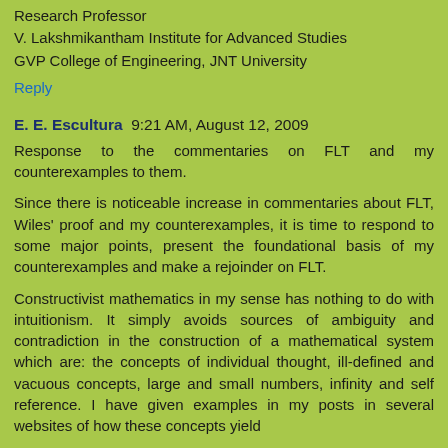Research Professor
V. Lakshmikantham Institute for Advanced Studies
GVP College of Engineering, JNT University
Reply
E. E. Escultura  9:21 AM, August 12, 2009
Response to the commentaries on FLT and my counterexamples to them.
Since there is noticeable increase in commentaries about FLT, Wiles' proof and my counterexamples, it is time to respond to some major points, present the foundational basis of my counterexamples and make a rejoinder on FLT.
Constructivist mathematics in my sense has nothing to do with intuitionism. It simply avoids sources of ambiguity and contradiction in the construction of a mathematical system which are: the concepts of individual thought, ill-defined and vacuous concepts, large and small numbers, infinity and self reference. I have given examples in my posts in several websites of how these concepts yield